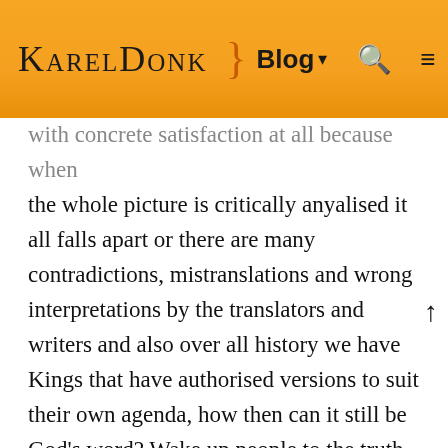KARELDONK } Blog ▾ 🔍 ≡
with concrete satisfaction at all because when the whole picture is critically anyalised it all falls apart or there are many contradictions, mistranslations and wrong interpretations by the translators and writers and also over all history we have Kings that have authorised versions to suit their own agenda, how then can it still be God's word? Wake up people to the truth and history of it all, we have and still ar being manipulated but you fear even looking for the truth or even porperly researching a shred or strand of it. Lets not forget we do not have the original Amaraic version either. And there are older religions than Christianity that